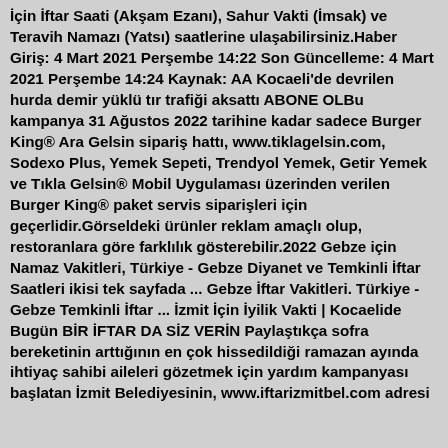İçin İftar Saati (Akşam Ezanı), Sahur Vakti (İmsak) ve Teravih Namazı (Yatsı) saatlerine ulaşabilirsiniz.Haber Giriş: 4 Mart 2021 Perşembe 14:22 Son Güncelleme: 4 Mart 2021 Perşembe 14:24 Kaynak: AA Kocaeli'de devrilen hurda demir yüklü tır trafiği aksattı ABONE OLBu kampanya 31 Ağustos 2022 tarihine kadar sadece Burger King® Ara Gelsin sipariş hattı, www.tiklagelsin.com, Sodexo Plus, Yemek Sepeti, Trendyol Yemek, Getir Yemek ve Tıkla Gelsin® Mobil Uygulaması üzerinden verilen Burger King® paket servis siparişleri için geçerlidir.Görseldeki ürünler reklam amaçlı olup, restoranlara göre farklılık gösterebilir.2022 Gebze için Namaz Vakitleri, Türkiye - Gebze Diyanet ve Temkinli İftar Saatleri ikisi tek sayfada ... Gebze İftar Vakitleri. Türkiye - Gebze Temkinli İftar ... İzmit İçin İyilik Vakti | Kocaelide Bugün BİR İFTAR DA SİZ VERİN Paylaştıkça sofra bereketinin arttığının en çok hissedildiği ramazan ayında ihtiyaç sahibi aileleri gözetmek için yardım kampanyası başlatan İzmit Belediyesinin, www.iftarizmitbel.com adresi